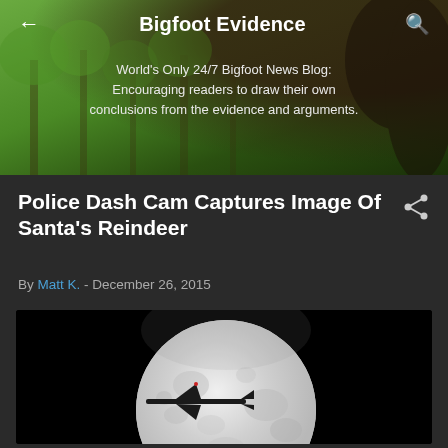Bigfoot Evidence
World's Only 24/7 Bigfoot News Blog: Encouraging readers to draw their own conclusions from the evidence and arguments.
Police Dash Cam Captures Image Of Santa's Reindeer
By Matt K. - December 26, 2015
[Figure (photo): Black and white photograph of a full moon against a dark sky, with a dark silhouette of what appears to be a small aircraft or flying object passing in front of the moon]